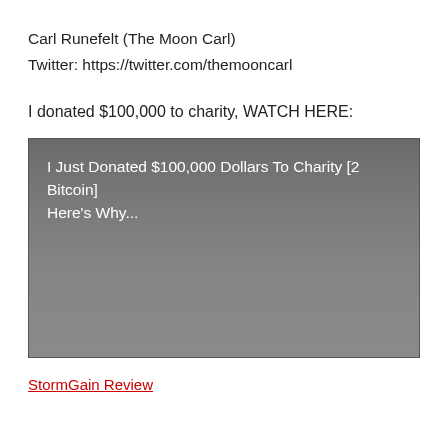Carl Runefelt (The Moon Carl)
Twitter: https://twitter.com/themooncarl
I donated $100,000 to charity, WATCH HERE:
[Figure (screenshot): Video thumbnail with dark gray gradient background showing text: 'I Just Donated $100,000 Dollars To Charity [2 Bitcoin] Here's Why...']
StormGain Review